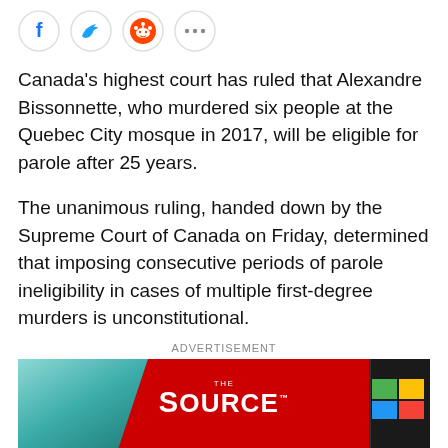[Figure (other): Social sharing icons: Facebook (blue circle), Twitter (blue bird circle), Reddit (orange circle), and more options (grey circle with three dots)]
Canada's highest court has ruled that Alexandre Bissonnette, who murdered six people at the Quebec City mosque in 2017, will be eligible for parole after 25 years.
The unanimous ruling, handed down by the Supreme Court of Canada on Friday, determined that imposing consecutive periods of parole ineligibility in cases of multiple first-degree murders is unconstitutional.
ADVERTISEMENT
[Figure (photo): Advertisement banner for The Source store, showing two smartphones on a red background with 'THE SOURCE' logo text in white.]